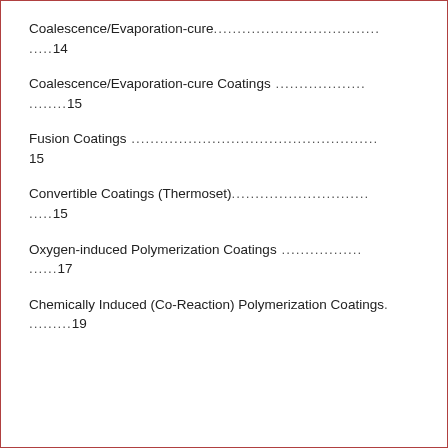Coalescence/Evaporation-cure..................................14
Coalescence/Evaporation-cure Coatings...................15
Fusion Coatings.......................................................15
Convertible Coatings (Thermoset)...............................15
Oxygen-induced Polymerization Coatings...................17
Chemically Induced (Co-Reaction) Polymerization Coatings.19